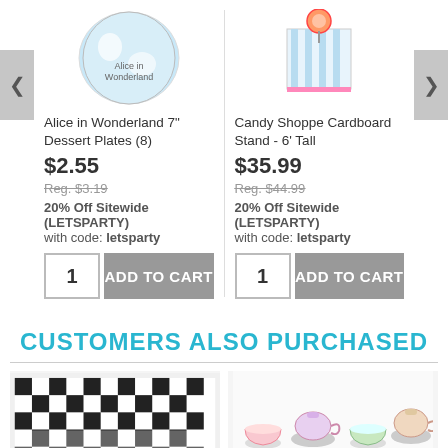[Figure (photo): Alice in Wonderland themed dessert plate with cartoon characters]
Alice in Wonderland 7" Dessert Plates (8)
$2.55
Reg. $3.19
20% Off Sitewide (LETSPARTY)
with code: letsparty
[Figure (photo): Candy Shoppe cardboard stand with lollipop and striped design]
Candy Shoppe Cardboard Stand - 6' Tall
$35.99
Reg. $44.99
20% Off Sitewide (LETSPARTY)
with code: letsparty
CUSTOMERS ALSO PURCHASED
[Figure (photo): Black and white checkered tablecloth]
[Figure (photo): Floral tea set with cups and teapots]